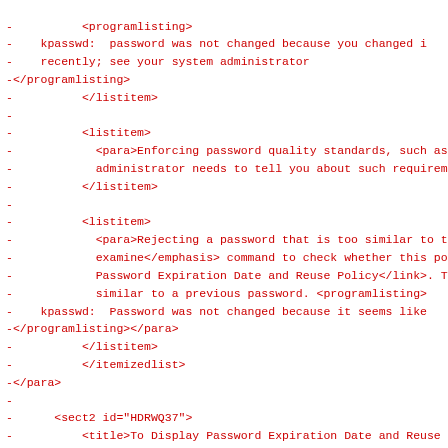Diff output showing XML source code changes related to programlisting, listitem, para, sect2, title, and indexterm elements in a documentation file.